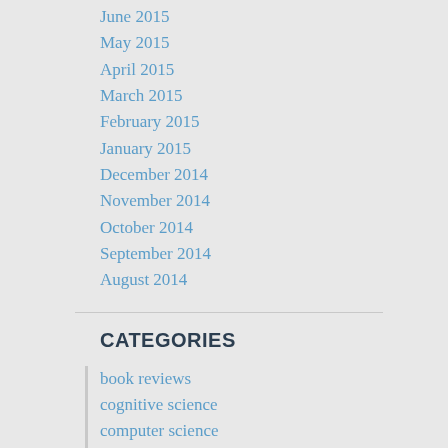June 2015
May 2015
April 2015
March 2015
February 2015
January 2015
December 2014
November 2014
October 2014
September 2014
August 2014
CATEGORIES
book reviews
cognitive science
computer science
core principles
critique of neoclassical economics
current events